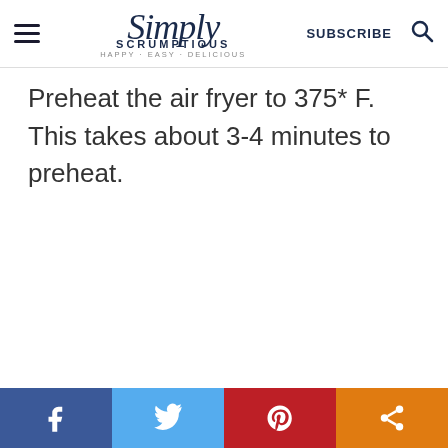Simply Scrumptious - HAPPY · EASY · DELICIOUS
Preheat the air fryer to 375* F. This takes about 3-4 minutes to preheat.
Social share bar: Facebook, Twitter, Pinterest, Share